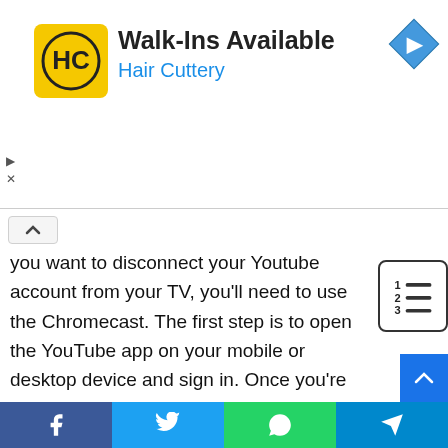[Figure (advertisement): Hair Cuttery ad banner with yellow logo, text 'Walk-Ins Available' and 'Hair Cuttery' in blue, navigation arrow icon top right, play/close controls left side]
you want to disconnect your Youtube account from your TV, you'll need to use the Chromecast. The first step is to open the YouTube app on your mobile or desktop device and sign in. Once you're signed in, tap the three lines in the top left corner of the main screen and select Settings.
See also  Why Do My Controllers Keep Disconnecting PS4? What Should You Do?
Under “Your Accounts,” tap on the account you want to disconnect and then tap Disconnect next to it. Finally, follow the on-screen instructions to disconnect your account.